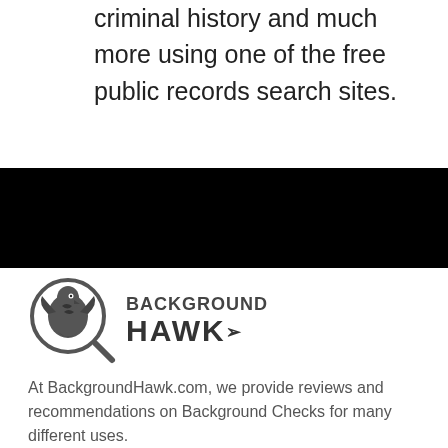criminal history and much more using one of the free public records search sites.
[Figure (logo): BackgroundHawk logo with magnifying glass containing a hawk, and text BACKGROUND HAWK]
At BackgroundHawk.com, we provide reviews and recommendations on Background Checks for many different uses.